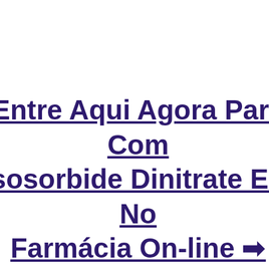Entre Aqui Agora Para Com Isosorbide Dinitrate Em No Farmácia On-line ➡